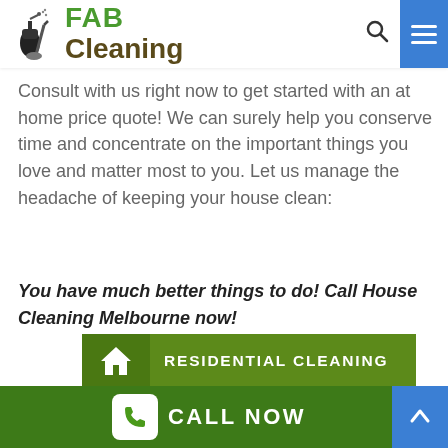FAB Cleaning
Consult with us right now to get started with an at home price quote! We can surely help you conserve time and concentrate on the important things you love and matter most to you. Let us manage the headache of keeping your house clean:
You have much better things to do! Call House Cleaning Melbourne now!
RESIDENTIAL CLEANING
CALL NOW